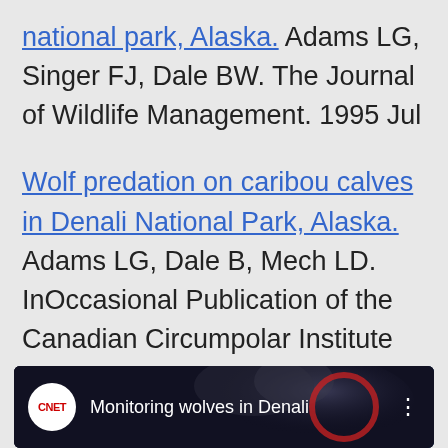national park, Alaska. Adams LG, Singer FJ, Dale BW. The Journal of Wildlife Management. 1995 Jul
Wolf predation on caribou calves in Denali National Park, Alaska. Adams LG, Dale B, Mech LD. InOccasional Publication of the Canadian Circumpolar Institute 1995
[Figure (screenshot): CNET video thumbnail showing 'Monitoring wolves in Denali' with wolf image in background, CNET logo on left, and three-dot menu on right]